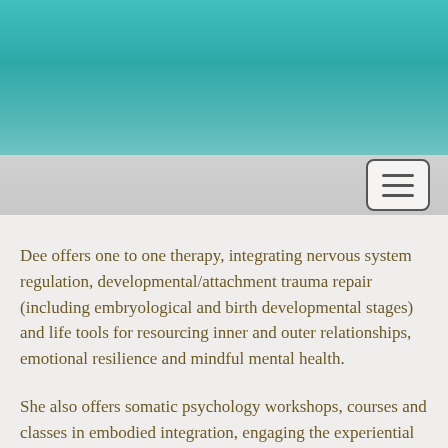[Figure (illustration): Teal/turquoise gradient header banner at the top of the page]
[Figure (screenshot): Navigation bar with hamburger menu icon (three horizontal lines) in a rounded rectangle button on the right side]
Dee offers one to one therapy, integrating nervous system regulation, developmental/attachment trauma repair (including embryological and birth developmental stages) and life tools for resourcing inner and outer relationships, emotional resilience and mindful mental health.
She also offers somatic psychology workshops, courses and classes in embodied integration, engaging the experiential fields of cellular